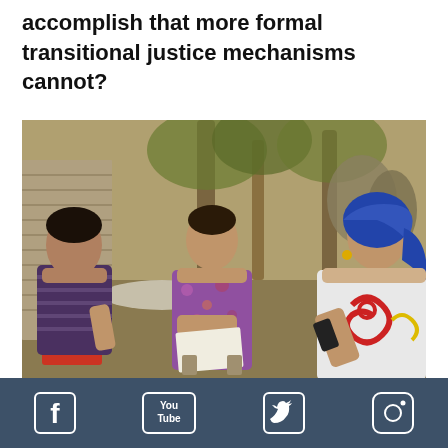accomplish that more formal transitional justice mechanisms cannot?
[Figure (photo): Three women sitting outdoors in a semi-circle, appearing to have a discussion. One woman on the left wears a striped dress, one in the center wears a floral dress and holds papers, and one on the right wears a blue headscarf and white garment with colorful embroidery. Trees and a corrugated metal structure are visible in the background.]
Facebook YouTube Twitter Instagram social media icons